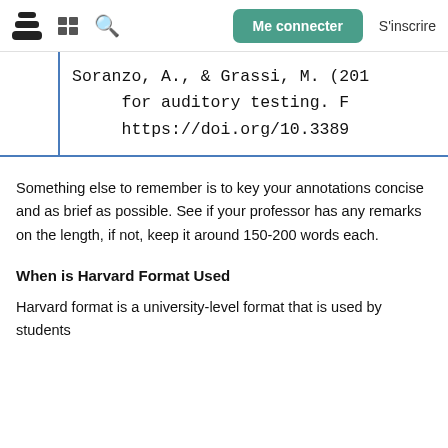Me connecter  S'inscrire
Soranzo, A., & Grassi, M. (201... for auditory testing. F... https://doi.org/10.3389...
Something else to remember is to key your annotations concise and as brief as possible. See if your professor has any remarks on the length, if not, keep it around 150-200 words each.
When is Harvard Format Used
Harvard format is a university-level format that is used by students